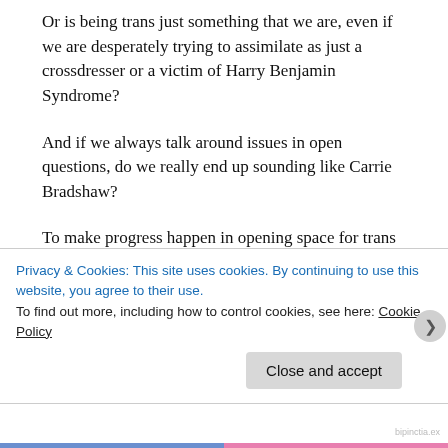Or is being trans just something that we are, even if we are desperately trying to assimilate as just a crossdresser or a victim of Harry Benjamin Syndrome?
And if we always talk around issues in open questions, do we really end up sounding like Carrie Bradshaw?
To make progress happen in opening space for trans expression, transpeople have to stand up and take political power, opening hearts, minds and lawbooks to create new spaces for people like us.
Privacy & Cookies: This site uses cookies. By continuing to use this website, you agree to their use.
To find out more, including how to control cookies, see here: Cookie Policy